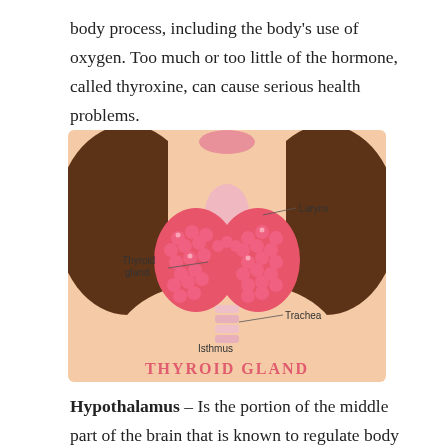body process, including the body's use of oxygen. Too much or too little of the hormone, called thyroxine, can cause serious health problems.
[Figure (illustration): Anatomical illustration of a woman's neck showing the thyroid gland with labeled parts: Larynx, Thyroid gland, Trachea, Isthmus. Title reads 'THYROID GLAND' in pink text at the bottom.]
Hypothalamus – Is the portion of the middle part of the brain that is known to regulate body temperature and help control the functions of the internal organs.